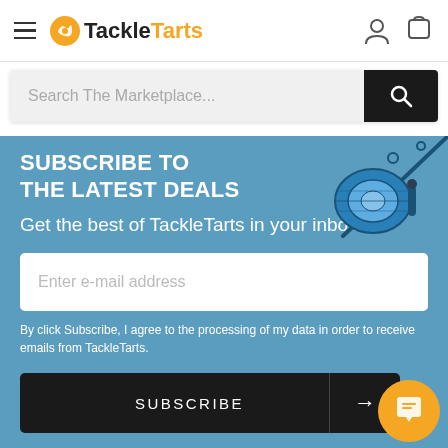TackleTarts navigation bar with hamburger menu, logo, user icon and cart icon
Search The Marketplace...
SUBSCRIBE TO THE LATEST DEALS
Get the best of TackleTarts in your inbox
[Figure (screenshot): Email input field placeholder: Enter e-mail address]
By click Subscribe, I agree to the processing of my data in order to receive emails from TackleTarts.
SUBSCRIBE →